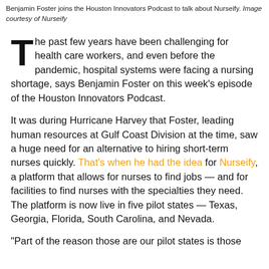Benjamin Foster joins the Houston Innovators Podcast to talk about Nurseify. Image courtesy of Nurseify
The past few years have been challenging for health care workers, and even before the pandemic, hospital systems were facing a nursing shortage, says Benjamin Foster on this week's episode of the Houston Innovators Podcast.
It was during Hurricane Harvey that Foster, leading human resources at Gulf Coast Division at the time, saw a huge need for an alternative to hiring short-term nurses quickly. That's when he had the idea for Nurseify, a platform that allows for nurses to find jobs — and for facilities to find nurses with the specialties they need. The platform is now live in five pilot states — Texas, Georgia, Florida, South Carolina, and Nevada.
"Part of the reason those are our pilot states is those